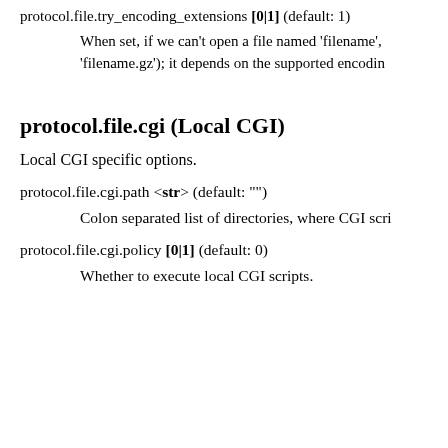protocol.file.try_encoding_extensions [0|1] (default: 1)
When set, if we can't open a file named 'filename', 'filename.gz'); it depends on the supported encoding
protocol.file.cgi (Local CGI)
Local CGI specific options.
protocol.file.cgi.path <str> (default: "")
Colon separated list of directories, where CGI scri
protocol.file.cgi.policy [0|1] (default: 0)
Whether to execute local CGI scripts.